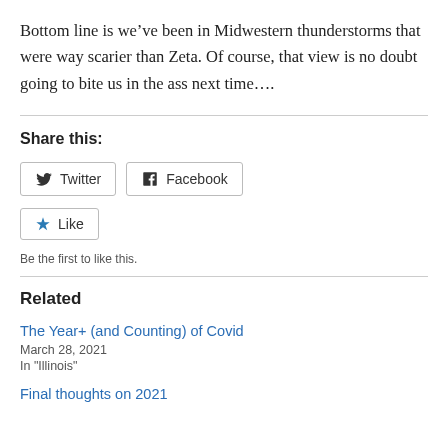Bottom line is we've been in Midwestern thunderstorms that were way scarier than Zeta. Of course, that view is no doubt going to bite us in the ass next time….
Share this:
Twitter  Facebook
Like
Be the first to like this.
Related
The Year+ (and Counting) of Covid
March 28, 2021
In "Illinois"
Final thoughts on 2021